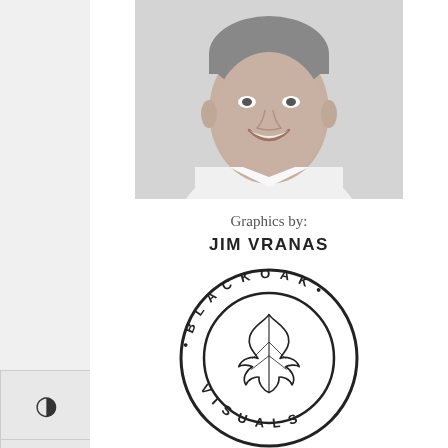[Figure (photo): Black and white headshot of a smiling man in a white shirt]
Graphics by:
JIM VRANAS
[Figure (logo): Black Oak Visuals circular logo with oak leaf in center]